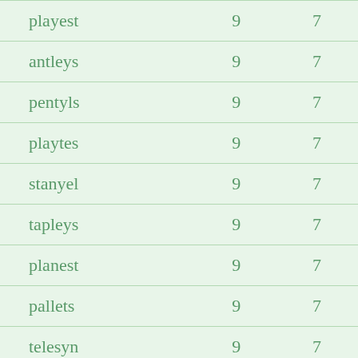| playest | 9 | 7 |
| antleys | 9 | 7 |
| pentyls | 9 | 7 |
| playtes | 9 | 7 |
| stanyel | 9 | 7 |
| tapleys | 9 | 7 |
| planest | 9 | 7 |
| pallets | 9 | 7 |
| telesyn | 9 | 7 |